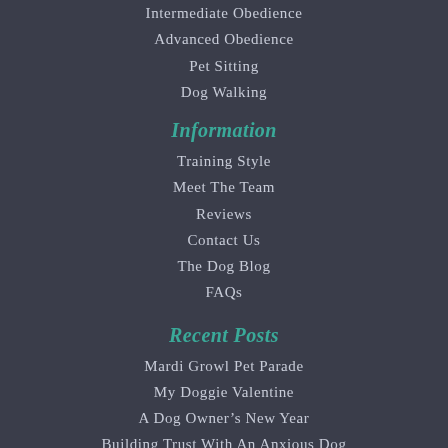Intermediate Obedience
Advanced Obedience
Pet Sitting
Dog Walking
Information
Training Style
Meet The Team
Reviews
Contact Us
The Dog Blog
FAQs
Recent Posts
Mardi Growl Pet Parade
My Doggie Valentine
A Dog Owner’s New Year
Building Trust With An Anxious Dog
The Camping Dog
The Bark Knoxville